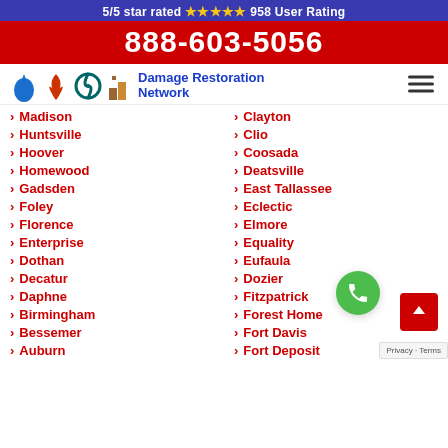5/5 star rated ★★★★★ 958 User Rating
888-603-5056
[Figure (logo): Damage Restoration Network logo with water drop, fire, hurricane, and building icons]
Madison
Huntsville
Hoover
Homewood
Gadsden
Foley
Florence
Enterprise
Dothan
Decatur
Daphne
Birmingham
Bessemer
Auburn
Clayton
Clio
Coosada
Deatsville
East Tallassee
Eclectic
Elmore
Equality
Eufaula
Dozier
Fitzpatrick
Forest Home
Fort Davis
Fort Deposit